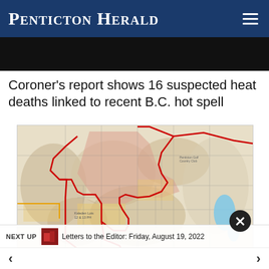Penticton Herald
[Figure (photo): Dark/black cropped image strip at top below header]
Coroner's report shows 16 suspected heat deaths linked to recent B.C. hot spell
[Figure (map): Regional map showing area near Penticton with red boundary lines indicating fire or evacuation zones, blue lake visible on right, terrain shading]
NEXT UP
Letters to the Editor: Friday, August 19, 2022